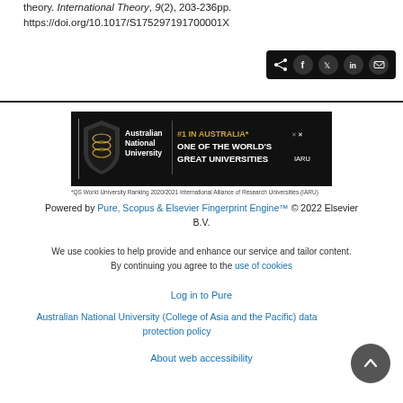theory. International Theory, 9(2), 203-236pp. https://doi.org/10.1017/S175297191700001X
[Figure (other): Social share buttons bar (black background) with share, Facebook, Twitter, LinkedIn, and email icons]
[Figure (logo): Australian National University banner: #1 IN AUSTRALIA* ONE OF THE WORLD'S GREAT UNIVERSITIES IARU. *QS World University Ranking 2020/2021 International Alliance of Research Universities (IARU)]
*QS World University Ranking 2020/2021 International Alliance of Research Universities (IARU)
Powered by Pure, Scopus & Elsevier Fingerprint Engine™ © 2022 Elsevier B.V.
We use cookies to help provide and enhance our service and tailor content. By continuing you agree to the use of cookies
Log in to Pure
Australian National University (College of Asia and the Pacific) data protection policy
About web accessibility